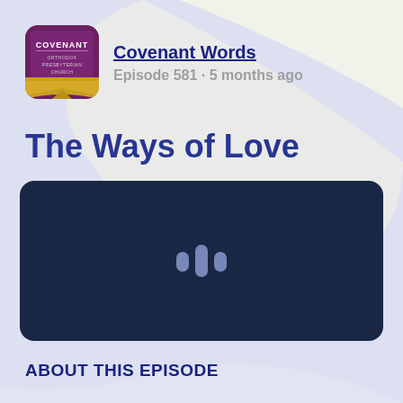[Figure (logo): Covenant Words podcast logo - dark purple/maroon square with gold banner at bottom, text COVENANT ORTHODOX PRESBYTERIAN CHURCH]
Covenant Words
Episode 581 · 5 months ago
The Ways of Love
[Figure (other): Dark navy audio player box with a waveform/podcast icon in the center (three vertical bars of varying heights in light blue/white)]
ABOUT THIS EPISODE